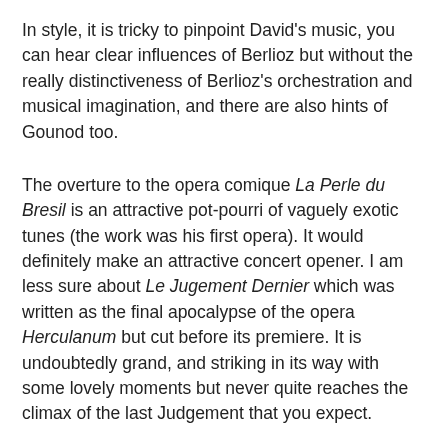In style, it is tricky to pinpoint David's music, you can hear clear influences of Berlioz but without the really distinctiveness of Berlioz's orchestration and musical imagination, and there are also hints of Gounod too.
The overture to the opera comique La Perle du Bresil is an attractive pot-pourri of vaguely exotic tunes (the work was his first opera). It would definitely make an attractive concert opener. I am less sure about Le Jugement Dernier which was written as the final apocalypse of the opera Herculanum but cut before its premiere. It is undoubtedly grand, and striking in its way with some lovely moments but never quite reaches the climax of the last Judgement that you expect.
It is Mendelssohn whose music seems to come to mind when listening to David's Symphony No. 3. In four movements, it is a correct work, yet full of charm. An amiable first movement, leads to a gentle second, and the perky scherzo leads to an even perkier final movement which suggests an overture to an opera comique.